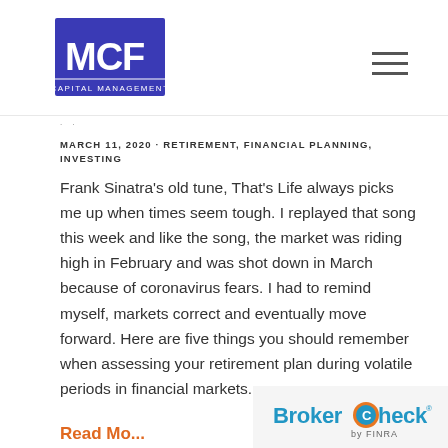[Figure (logo): MCF Capital Management logo — blue square with white letters MCF and 'Capital Management' text below]
· ·
MARCH 11, 2020 · RETIREMENT, FINANCIAL PLANNING, INVESTING
Frank Sinatra's old tune, That's Life always picks me up when times seem tough. I replayed that song this week and like the song, the market was riding high in February and was shot down in March because of coronavirus fears. I had to remind myself, markets correct and eventually move forward. Here are five things you should remember when assessing your retirement plan during volatile periods in financial markets.
[Figure (logo): BrokerCheck by FINRA logo — teal and blue text on light gray background]
Read Mo…